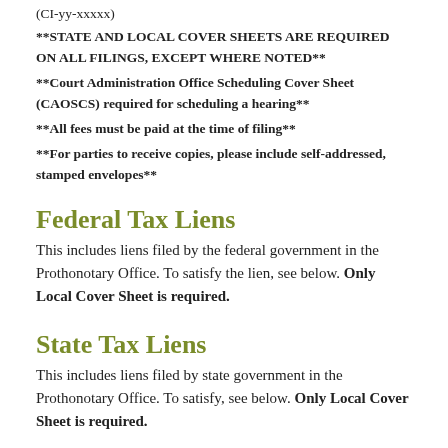(CI-yy-xxxxx)
**STATE AND LOCAL COVER SHEETS ARE REQUIRED ON ALL FILINGS, EXCEPT WHERE NOTED**
**Court Administration Office Scheduling Cover Sheet (CAOSCS) required for scheduling a hearing**
**All fees must be paid at the time of filing**
**For parties to receive copies, please include self-addressed, stamped envelopes**
Federal Tax Liens
This includes liens filed by the federal government in the Prothonotary Office. To satisfy the lien, see below. Only Local Cover Sheet is required.
State Tax Liens
This includes liens filed by state government in the Prothonotary Office. To satisfy, see below. Only Local Cover Sheet is required.